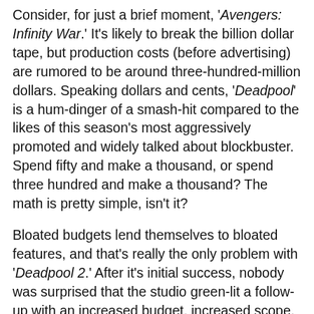Consider, for just a brief moment, 'Avengers: Infinity War.' It's likely to break the billion dollar tape, but production costs (before advertising) are rumored to be around three-hundred-million dollars. Speaking dollars and cents, 'Deadpool' is a hum-dinger of a smash-hit compared to the likes of this season's most aggressively promoted and widely talked about blockbuster. Spend fifty and make a thousand, or spend three hundred and make a thousand? The math is pretty simple, isn't it?
Bloated budgets lend themselves to bloated features, and that's really the only problem with 'Deadpool 2.' After it's initial success, nobody was surprised that the studio green-lit a follow-up with an increased budget, increased scope, increased scale, and increased ambitions; in some ways (not